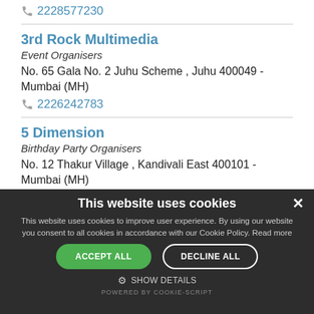2228577230
3rd Rock Multimedia
Event Organisers
No. 65 Gala No. 2 Juhu Scheme , Juhu 400049 - Mumbai (MH)
2226242783
5 Dimension
Birthday Party Organisers
No. 12 Thakur Village , Kandivali East 400101 - Mumbai (MH)
9930737575
This website uses cookies
This website uses cookies to improve user experience. By using our website you consent to all cookies in accordance with our Cookie Policy. Read more
ACCEPT ALL
DECLINE ALL
SHOW DETAILS
POWERED BY COOKIE-SCRIPT